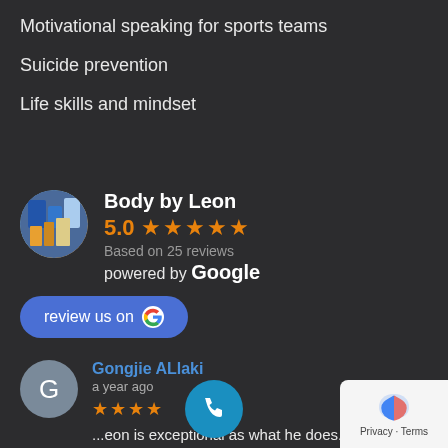Motivational speaking for sports teams
Suicide prevention
Life skills and mindset
Body by Leon
5.0 ★★★★★
Based on 25 reviews
powered by Google
review us on Google
Gongjie ALlaki
a year ago
★★★★ ...Leon is exceptional as what he does...k ethic and commitment to helping his clients achieve